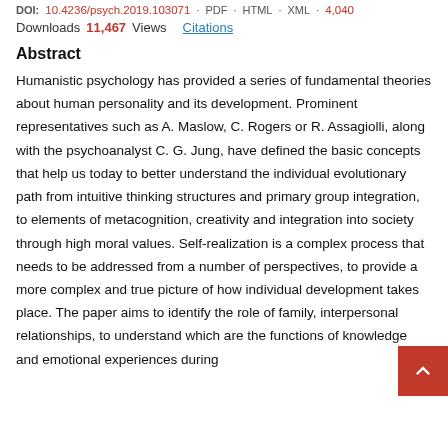DOI: 10.4236/psych.2019.103071 · PDF · HTML · XML · 4,040
Downloads  11,467 Views  Citations
Abstract
Humanistic psychology has provided a series of fundamental theories about human personality and its development. Prominent representatives such as A. Maslow, C. Rogers or R. Assagiolli, along with the psychoanalyst C. G. Jung, have defined the basic concepts that help us today to better understand the individual evolutionary path from intuitive thinking structures and primary group integration, to elements of metacognition, creativity and integration into society through high moral values. Self-realization is a complex process that needs to be addressed from a number of perspectives, to provide a more complex and true picture of how individual development takes place. The paper aims to identify the role of family, interpersonal relationships, to understand which are the functions of knowledge and emotional experiences during